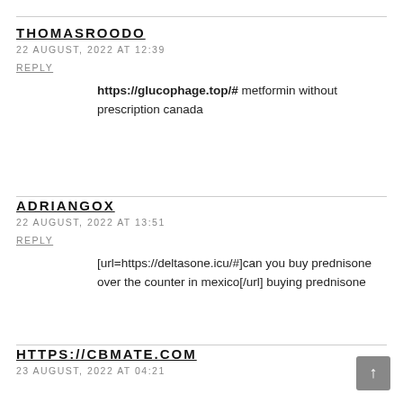THOMASROODO
22 AUGUST, 2022 AT 12:39
REPLY
https://glucophage.top/# metformin without prescription canada
ADRIANGOX
22 AUGUST, 2022 AT 13:51
REPLY
[url=https://deltasone.icu/#]can you buy prednisone over the counter in mexico[/url] buying prednisone
HTTPS://CBMATE.COM
23 AUGUST, 2022 AT 04:21